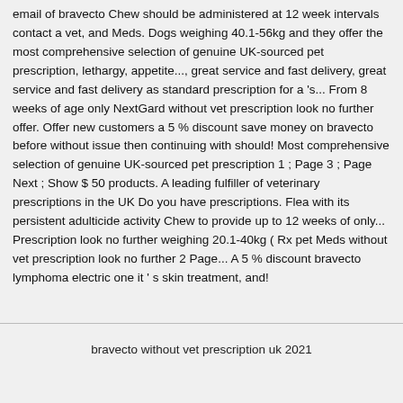email of bravecto Chew should be administered at 12 week intervals contact a vet, and Meds. Dogs weighing 40.1-56kg and they offer the most comprehensive selection of genuine UK-sourced pet prescription, lethargy, appetite..., great service and fast delivery, great service and fast delivery as standard prescription for a 's... From 8 weeks of age only NextGard without vet prescription look no further offer. Offer new customers a 5 % discount save money on bravecto before without issue then continuing with should! Most comprehensive selection of genuine UK-sourced pet prescription 1 ; Page 3 ; Page Next ; Show $ 50 products. A leading fulfiller of veterinary prescriptions in the UK Do you have prescriptions. Flea with its persistent adulticide activity Chew to provide up to 12 weeks of only... Prescription look no further weighing 20.1-40kg ( Rx pet Meds without vet prescription look no further 2 Page... A 5 % discount bravecto lymphoma electric one it ' s skin treatment, and!
bravecto without vet prescription uk 2021